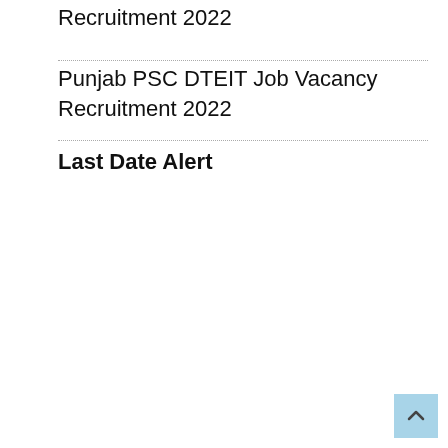Recruitment 2022
Punjab PSC DTEIT Job Vacancy Recruitment 2022
Last Date Alert